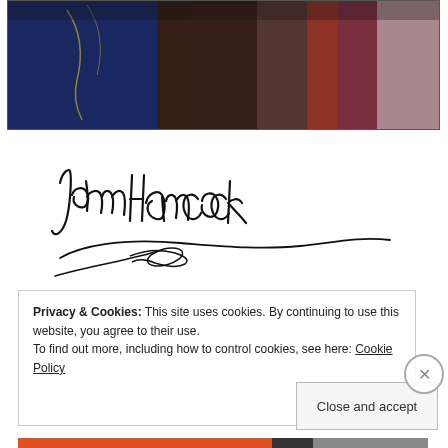[Figure (photo): Cropped portrait painting of a historical figure in blue coat with gold trim, holding what appears to be a document, with red fabric visible at right edge]
[Figure (illustration): John Hancock's famous cursive signature in black ink with a quill pen depicted below]
Privacy & Cookies: This site uses cookies. By continuing to use this website, you agree to their use.
To find out more, including how to control cookies, see here: Cookie Policy
Close and accept